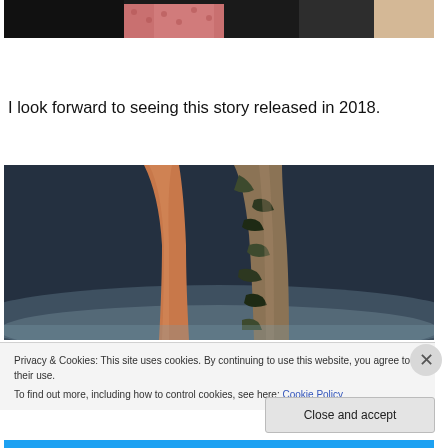[Figure (photo): Partial photo showing legs/feet at top of page, partially cropped]
I look forward to seeing this story released in 2018.
[Figure (photo): Photo showing what appears to be a camouflage-patterned prosthetic leg or boot against a dark background]
Privacy & Cookies: This site uses cookies. By continuing to use this website, you agree to their use.
To find out more, including how to control cookies, see here: Cookie Policy
Close and accept